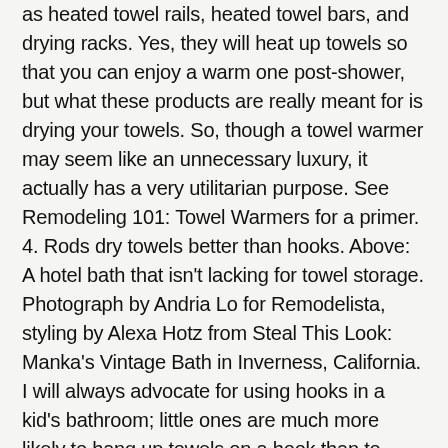as heated towel rails, heated towel bars, and drying racks. Yes, they will heat up towels so that you can enjoy a warm one post-shower, but what these products are really meant for is drying your towels. So, though a towel warmer may seem like an unnecessary luxury, it actually has a very utilitarian purpose. See Remodeling 101: Towel Warmers for a primer. 4. Rods dry towels better than hooks. Above: A hotel bath that isn't lacking for towel storage. Photograph by Andria Lo for Remodelista, styling by Alexa Hotz from Steal This Look: Manka's Vintage Bath in Inverness, California. I will always advocate for using hooks in a kid's bathroom; little ones are much more likely to hang up towels on a hook than to drape them neatly over a towel rod. That said, if your bathroom is windowless, go for towel bars. They will dry your towels faster than hooks.